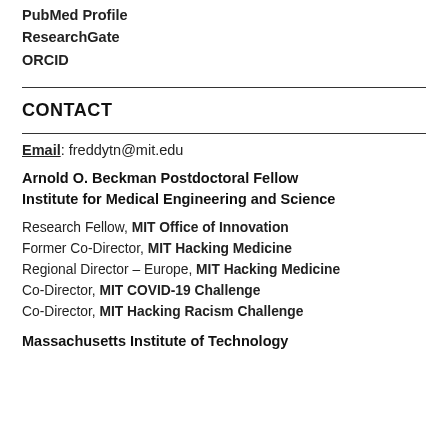PubMed Profile
ResearchGate
ORCID
CONTACT
Email: freddytn@mit.edu
Arnold O. Beckman Postdoctoral Fellow
Institute for Medical Engineering and Science
Research Fellow, MIT Office of Innovation
Former Co-Director, MIT Hacking Medicine
Regional Director – Europe, MIT Hacking Medicine
Co-Director, MIT COVID-19 Challenge
Co-Director, MIT Hacking Racism Challenge
Massachusetts Institute of Technology